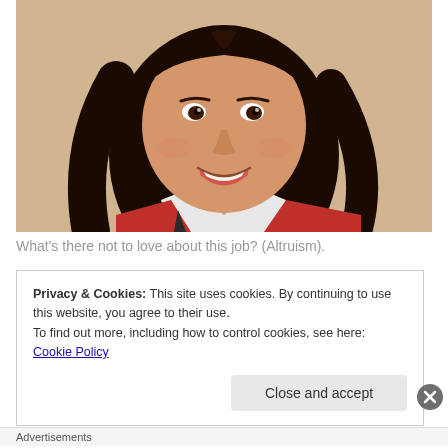[Figure (photo): Portrait photo of a smiling young girl with long dark hair, wearing a white collared shirt and red jacket, against a beige/tan textured wall background.]
What's there not to love about this job? (Altruism).
Privacy & Cookies: This site uses cookies. By continuing to use this website, you agree to their use.
To find out more, including how to control cookies, see here: Cookie Policy
Close and accept
Advertisements